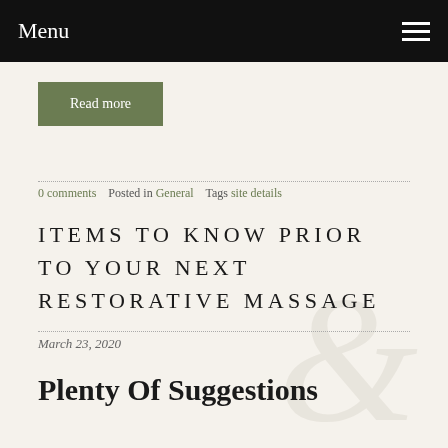Menu
Read more
0 comments   Posted in General   Tags site details
ITEMS TO KNOW PRIOR TO YOUR NEXT RESTORATIVE MASSAGE
March 23, 2020
Plenty Of Suggestions